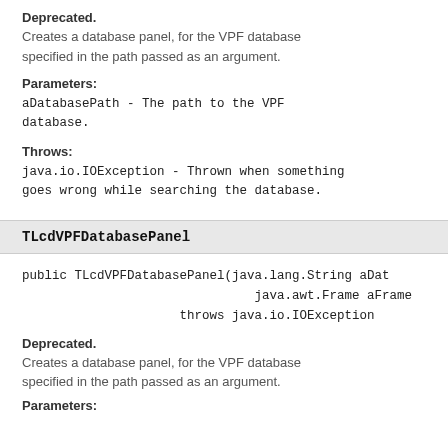Deprecated.
Creates a database panel, for the VPF database specified in the path passed as an argument.
Parameters:
aDatabasePath - The path to the VPF database.
Throws:
java.io.IOException - Thrown when something goes wrong while searching the database.
TLcdVPFDatabasePanel
public TLcdVPFDatabasePanel(java.lang.String aDat
                             java.awt.Frame aFrame
                  throws java.io.IOException
Deprecated.
Creates a database panel, for the VPF database specified in the path passed as an argument.
Parameters: